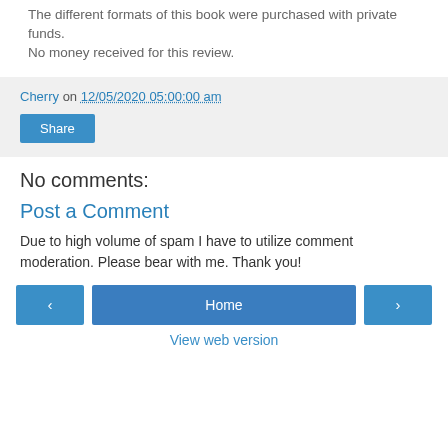The different formats of this book were purchased with private funds.
No money received for this review.
Cherry on 12/05/2020 05:00:00 am
Share
No comments:
Post a Comment
Due to high volume of spam I have to utilize comment moderation. Please bear with me. Thank you!
‹  Home  ›
View web version